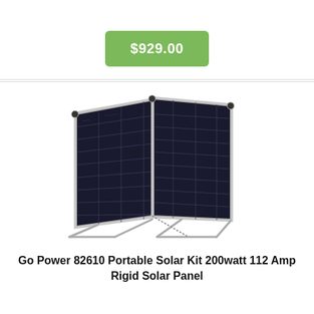$929.00
[Figure (photo): A portable folding solar panel kit (Go Power 82610) shown open and propped up at an angle with two black solar panels side by side on a metal frame with legs.]
Go Power 82610 Portable Solar Kit 200watt 112 Amp Rigid Solar Panel